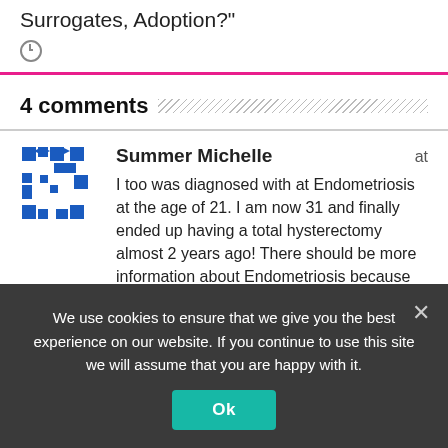Surrogates, Adoption?"
4 comments
Summer Michelle  at
I too was diagnosed with at Endometriosis at the age of 21. I am now 31 and finally ended up having a total hysterectomy almost 2 years ago! There should be more information about Endometriosis because no one really knows what it is like to deal with until you've walked in our shoes... Praying for you sister and God Bless!! <3
We use cookies to ensure that we give you the best experience on our website. If you continue to use this site we will assume that you are happy with it.